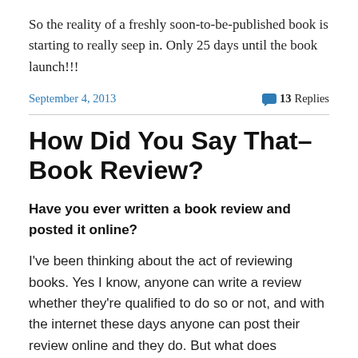So the reality of a freshly soon-to-be-published book is starting to really seep in. Only 25 days until the book launch!!!
September 4, 2013
13 Replies
How Did You Say That–Book Review?
Have you ever written a book review and posted it online?
I've been thinking about the act of reviewing books. Yes I know, anyone can write a review whether they're qualified to do so or not, and with the internet these days anyone can post their review online and they do. But what does